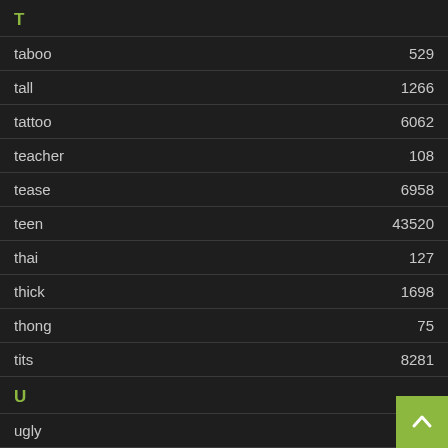| Term | Count |
| --- | --- |
| T |  |
| taboo | 529 |
| tall | 1266 |
| tattoo | 6062 |
| teacher | 108 |
| tease | 6958 |
| teen | 43520 |
| thai | 127 |
| thick | 1698 |
| thong | 75 |
| tits | 8281 |
| U |  |
| ugly | 34 |
| upskirt | 17469 |
| V |  |
| vibrator |  |